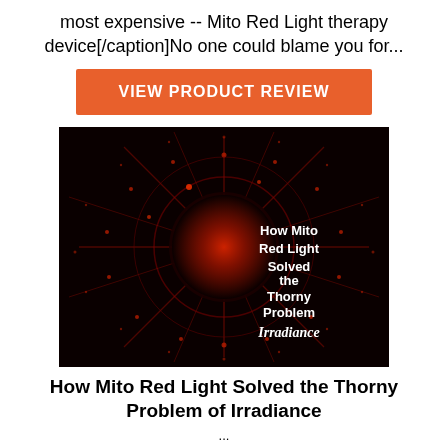most expensive -- Mito Red Light therapy device[/caption]No one could blame you for...
VIEW PRODUCT REVIEW
[Figure (photo): Dark background with red circular light pattern and rays, with white text overlay reading 'How Mito Red Light Solved the Thorny Problem IRRADIANCE']
How Mito Red Light Solved the Thorny Problem of Irradiance
...